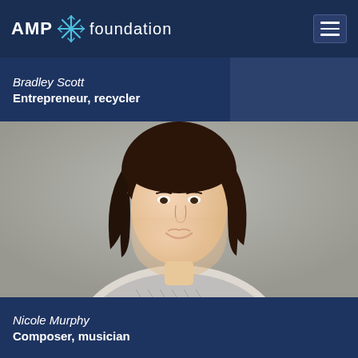[Figure (logo): AMP Foundation logo with stylized flower/sunburst icon between AMP and foundation text, white text on dark navy background]
Bradley Scott
Entrepreneur, recycler
[Figure (photo): Professional headshot of a woman with dark brown bob-length hair, smiling, wearing a patterned top, against a grey background]
Nicole Murphy
Composer, musician